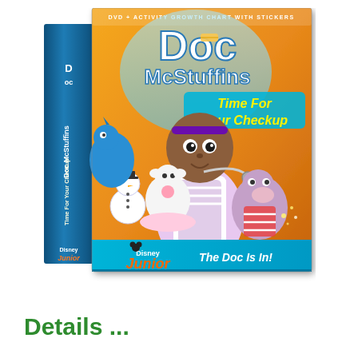[Figure (photo): Doc McStuffins DVD cover - 'Time For Your Checkup' showing the animated character Doc McStuffins with her toy friends including a dragon, snowman, lamb, and hippo. Includes Disney Junior branding and tagline 'The Doc Is In!'. DVD + Activity Growth Chart with Stickers.]
Details ...